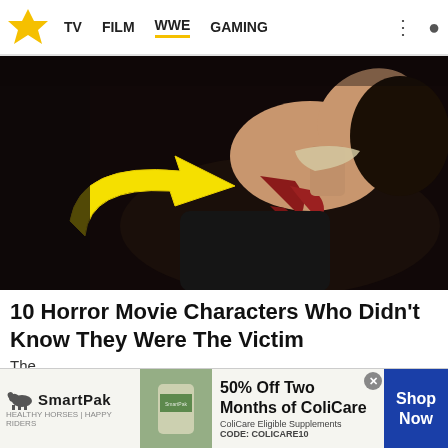TV | FILM | WWE | GAMING
[Figure (photo): Horror movie still: woman lying back with head tilted, bloody injuries visible, a large yellow arrow graphic overlaid pointing to her neck area. Dark dramatic lighting.]
10 Horror Movie Characters Who Didn't Know They Were The Victim
The
[Figure (infographic): SmartPak advertisement banner: SmartPak logo on left, product image in center-left, horse and rider image in center, text reading '50% Off Two Months of ColiCare, ColiCare Eligible Supplements, CODE: COLICARE10', blue 'Shop Now' button on right.]